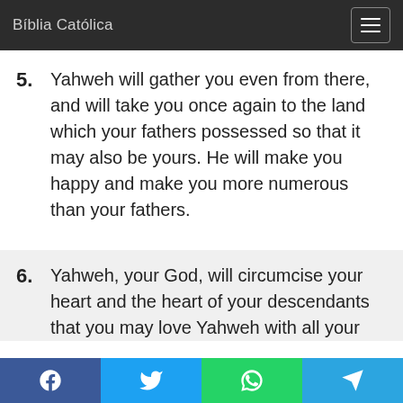Bíblia Católica
5. Yahweh will gather you even from there, and will take you once again to the land which your fathers possessed so that it may also be yours. He will make you happy and make you more numerous than your fathers.
6. Yahweh, your God, will circumcise your heart and the heart of your descendants that you may love Yahweh with all your heart and with all your soul, so that
Facebook Twitter WhatsApp Telegram